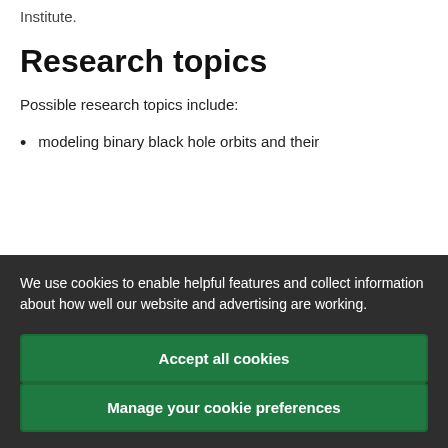Institute.
Research topics
Possible research topics include:
modeling binary black hole orbits and their
We use cookies to enable helpful features and collect information about how well our website and advertising are working.
Accept all cookies
Manage your cookie preferences